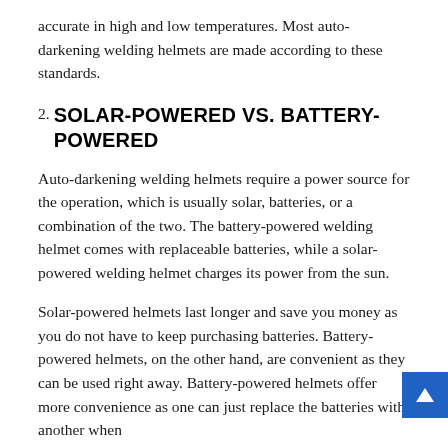accurate in high and low temperatures. Most auto-darkening welding helmets are made according to these standards.
2. SOLAR-POWERED VS. BATTERY-POWERED
Auto-darkening welding helmets require a power source for the operation, which is usually solar, batteries, or a combination of the two. The battery-powered welding helmet comes with replaceable batteries, while a solar-powered welding helmet charges its power from the sun.
Solar-powered helmets last longer and save you money as you do not have to keep purchasing batteries. Battery-powered helmets, on the other hand, are convenient as they can be used right away. Battery-powered helmets offer more convenience as one can just replace the batteries with another when